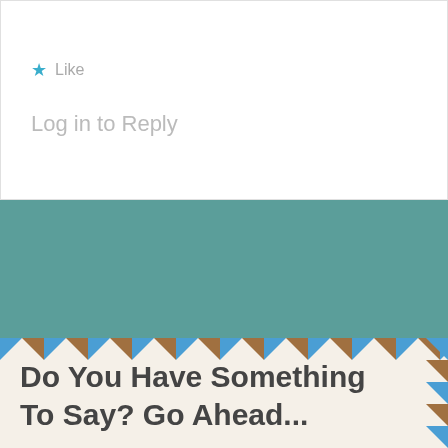Like
Log in to Reply
[Figure (illustration): Teal background section with a torn envelope/paper icon in the center, white with gold/yellow zigzag border]
[Figure (illustration): Airmail envelope bottom section with blue and brown diagonal stripes border on cream background]
Do You Have Something To Say? Go Ahead...